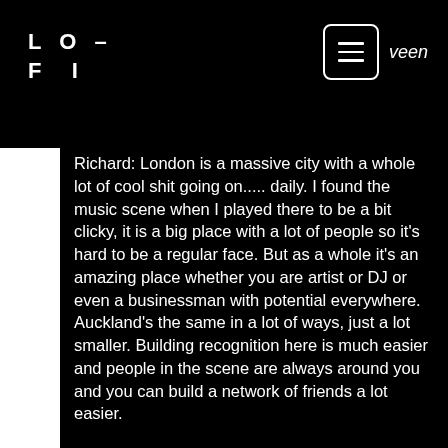LO-FI
Richard: London is a massive city with a whole lot of cool shit going on..... daily. I found the music scene when I played there to be a bit clicky, it is a big place with a lot of people so it's hard to be a regular face. But as a whole it's an amazing place whether you are artist or DJ or even a businessman with potential everywhere. Auckland's the same in a lot of ways, just a lot smaller. Building recognition here is much easier and people in the scene are always around you and you can build a network of friends a lot easier.
Owen: Why is vinyl having a resurgence do you think?
Richard: I'd say it has a lot to do with technology. When Vinyl DJs were around CDJs showed up and then people started to get into them. Life became easier because you're not carrying around 4 milk